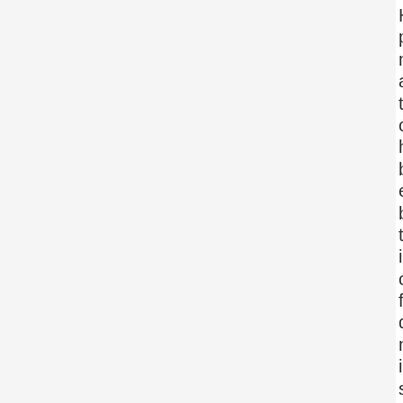Haitian people's movement and their organizations have been excluded by the international community from decision-making in solutions to this crisis. We have,